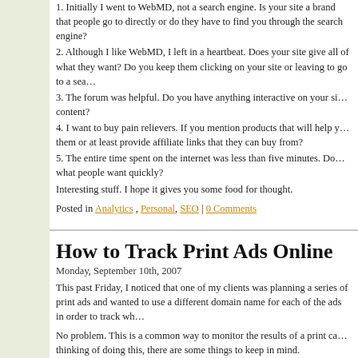1. Initially I went to WebMD, not a search engine.  Is your site a brand that people go to directly or do they have to find you through the search engine?
2. Although I like WebMD, I left in a heartbeat.  Does your site give all of what they want?  Do you keep them clicking on your site or leaving to go to a search engine?
3. The forum was helpful.  Do you have anything interactive on your site or user content?
4. I want to buy pain relievers.  If you mention products that will help you, can they buy them or at least provide affiliate links that they can buy from?
5. The entire time spent on the internet was less than five minutes.  Do you give people what people want quickly?
Interesting stuff.  I hope it gives you some food for thought.
Posted in Analytics, Personal, SEO | 0 Comments
How to Track Print Ads Online
Monday, September 10th, 2007
This past Friday, I noticed that one of my clients was planning a series of print ads and wanted to use a different domain name for each of the ads in order to track wh…
No problem.  This is a common way to monitor the results of a print ca… thinking of doing this, there are some things to keep in mind.
(more…)
Posted in Analytics | 0 Comments
Which Search Engine is Used Most?